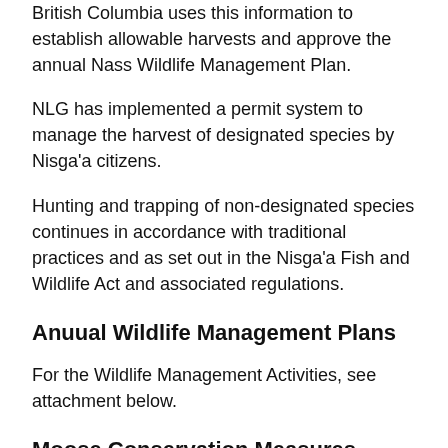British Columbia uses this information to establish allowable harvests and approve the annual Nass Wildlife Management Plan.
NLG has implemented a permit system to manage the harvest of designated species by Nisga'a citizens.
Hunting and trapping of non-designated species continues in accordance with traditional practices and as set out in the Nisga'a Fish and Wildlife Act and associated regulations.
Anuual Wildlife Management Plans
For the Wildlife Management Activities, see attachment below.
Moose Conservation Measures